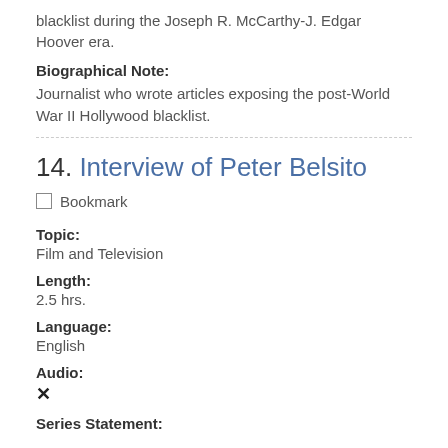blacklist during the Joseph R. McCarthy-J. Edgar Hoover era.
Biographical Note:
Journalist who wrote articles exposing the post-World War II Hollywood blacklist.
14. Interview of Peter Belsito
Bookmark
Topic:
Film and Television
Length:
2.5 hrs.
Language:
English
Audio:
✕
Series Statement: